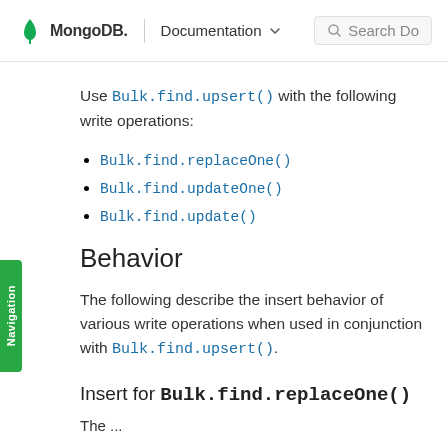MongoDB. | Documentation
Use Bulk.find.upsert() with the following write operations:
Bulk.find.replaceOne()
Bulk.find.updateOne()
Bulk.find.update()
Behavior
The following describe the insert behavior of various write operations when used in conjunction with Bulk.find.upsert().
Insert for Bulk.find.replaceOne()
The ...